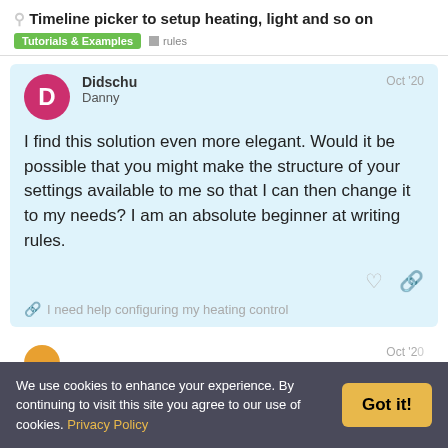Timeline picker to setup heating, light and so on
Tutorials & Examples  rules
Didschu Danny  Oct '20
I find this solution even more elegant. Would it be possible that you might make the structure of your settings available to me so that I can then change it to my needs? I am an absolute beginner at writing rules.
I need help configuring my heating control
We use cookies to enhance your experience. By continuing to visit this site you agree to our use of cookies. Privacy Policy
Got it!